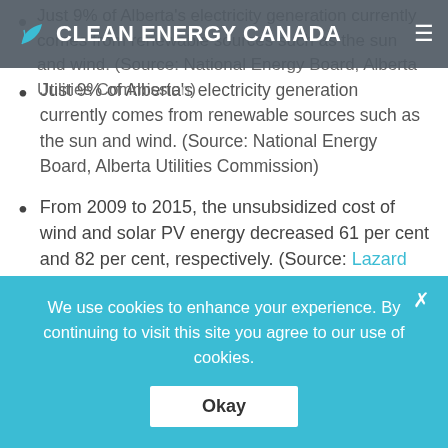CLEAN ENERGY CANADA
Just 9% of Alberta's electricity generation currently comes from renewable sources such as the sun and wind. (Source: National Energy Board, Alberta Utilities Commission)
From 2009 to 2015, the unsubsidized cost of wind and solar PV energy decreased 61 per cent and 82 per cent, respectively. (Source: Lazard 2015 Levelized Cost of Energy Analysis)
The absence of supportive policy in Alberta led to a precipitous drop in clean energy investment in the province last year, with only a single wind project built in 2015. (Source: Clean Energy Canada)
We use cookies to enhance your experience. By continuing to visit this site you agree to our use of cookies. Okay